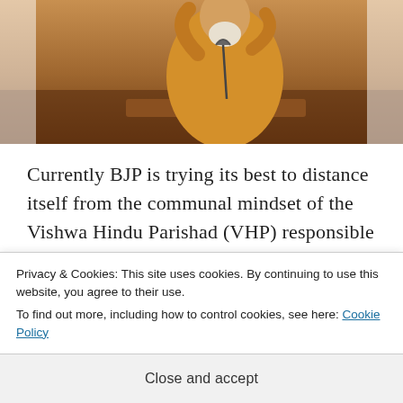[Figure (photo): Man in yellow/orange clothing speaking into a microphone, partial image at top of page]
Currently BJP is trying its best to distance itself from the communal mindset of the Vishwa Hindu Parishad (VHP) responsible for dividing India based on Hindu fanaticism. They were largely responsible for the demolition of the Babri Masjid in…
Privacy & Cookies: This site uses cookies. By continuing to use this website, you agree to their use.
To find out more, including how to control cookies, see here: Cookie Policy
Close and accept